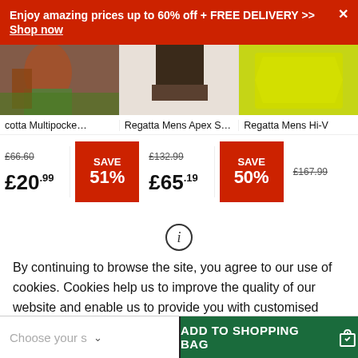Enjoy amazing prices up to 60% off + FREE DELIVERY >> Shop now
[Figure (photo): Three product images: person in jacket, boots close-up, hi-vis jacket]
cotta Multipocke... | Regatta Mens Apex Soft Sh... | Regatta Mens Hi-V...
£66.60 £20.99 SAVE 51% | £132.99 £65.19 SAVE 50% | £167.99
[Figure (other): Info icon (i) in circle]
By continuing to browse the site, you agree to our use of cookies. Cookies help us to improve the quality of our website and enable us to provide you with customised offers and social sharing options. More details.
Choose your s ∨ | ADD TO SHOPPING BAG